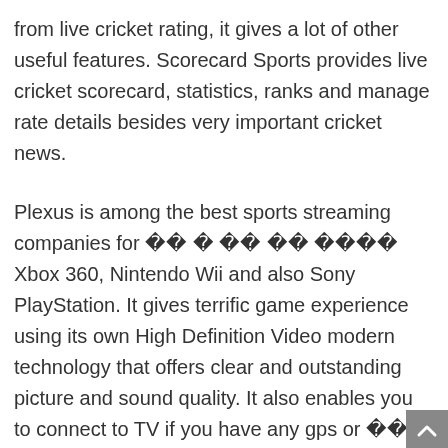from live cricket rating, it gives a lot of other useful features. Scorecard Sports provides live cricket scorecard, statistics, ranks and manage rate details besides very important cricket news.
Plexus is among the best sports streaming companies for [unreadable] Xbox 360, Nintendo Wii and also Sony PlayStation. It gives terrific game experience using its own High Definition Video modern technology that offers clear and outstanding picture and sound quality. It also enables you to connect to TV if you have any gps or [unreadable] even wire subscription in your region. It sustains very most computer game gaming consoles. Additionally, it allows you to flow live sports TV channels like live NBA, NFL, ufc [unreadable], Cyberspace MMA as well as various other sports networks. You can easily enjoy your live video games on your personal computer, iPhone,